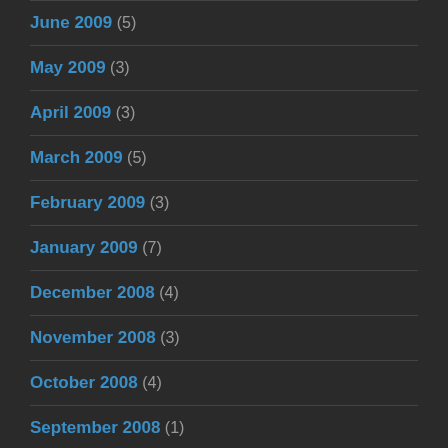June 2009 (5)
May 2009 (3)
April 2009 (3)
March 2009 (5)
February 2009 (3)
January 2009 (7)
December 2008 (4)
November 2008 (3)
October 2008 (4)
September 2008 (1)